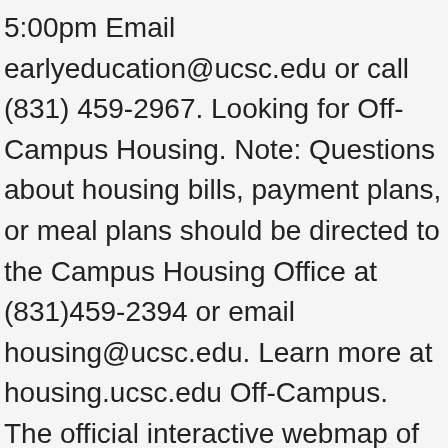5:00pm Email earlyeducation@ucsc.edu or call (831) 459-2967. Looking for Off-Campus Housing. Note: Questions about housing bills, payment plans, or meal plans should be directed to the Campus Housing Office at (831)459-2394 or email housing@ucsc.edu. Learn more at housing.ucsc.edu Off-Campus. The official interactive webmap of the University of California, Santa Cruz- created and maintained by campus staff. State Eligibility Chart; Fee Schedule; Childcare Access Policy … One university. Any questions about housing should be directed to the Rachel Carson Student Life Office located in the ... For a college map click here. Family Student Housing: construction view. Graduate Student Housing is an intimate community housing just 82 students, and is home to a diverse group, including students from all over the United States and